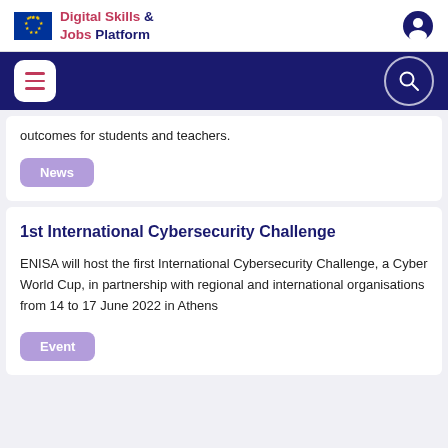Digital Skills & Jobs Platform
outcomes for students and teachers.
News
1st International Cybersecurity Challenge
ENISA will host the first International Cybersecurity Challenge, a Cyber World Cup, in partnership with regional and international organisations from 14 to 17 June 2022 in Athens
Event